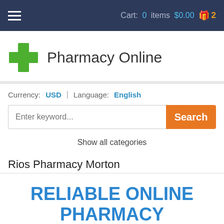Cart: 0 items $0.00  2
[Figure (logo): Pharmacy Online logo with green cross icon]
Currency: USD | Language: English
Enter keyword... Search
Show all categories
Rios Pharmacy Morton
RELIABLE ONLINE PHARMACY
> Click here to order now